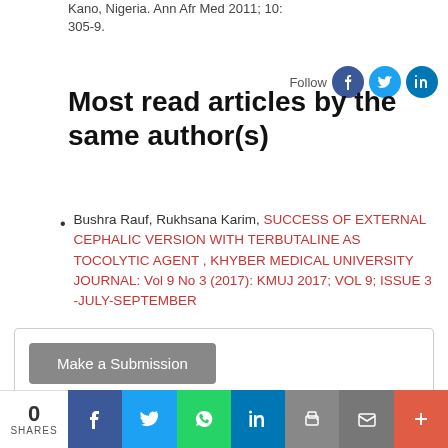Kano, Nigeria. Ann Afr Med 2011; 10: 305-9.
Most read articles by the same author(s)
Bushra Rauf, Rukhsana Karim, SUCCESS OF EXTERNAL CEPHALIC VERSION WITH TERBUTALINE AS TOCOLYTIC AGENT , KHYBER MEDICAL UNIVERSITY JOURNAL: Vol 9 No 3 (2017): KMUJ 2017; VOL 9; ISSUE 3 -JULY-SEPTEMBER
Make a Submission
Information
0 SHARES